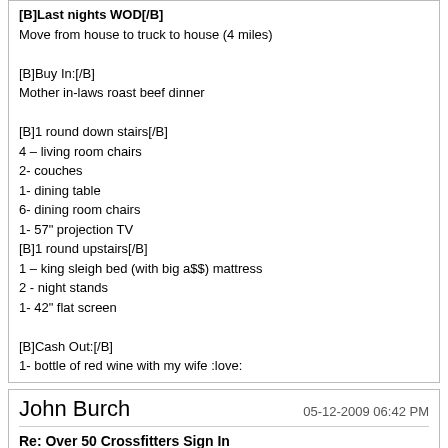[B]Last nights WOD[/B]
Move from house to truck to house (4 miles)

[B]Buy In:[/B]
Mother in-laws roast beef dinner

[B]1 round down stairs[/B]
4 – living room chairs
2- couches
1- dining table
6- dining room chairs
1- 57" projection TV
[B]1 round upstairs[/B]
1 – king sleigh bed (with big a$$) mattress
2 - night stands
1- 42" flat screen

[B]Cash Out:[/B]
1- bottle of red wine with my wife :love:
John Burch
05-12-2009 06:42 PM
Re: Over 50 Crossfitters Sign In
:D power cleans

WU 110 X 4
125
135